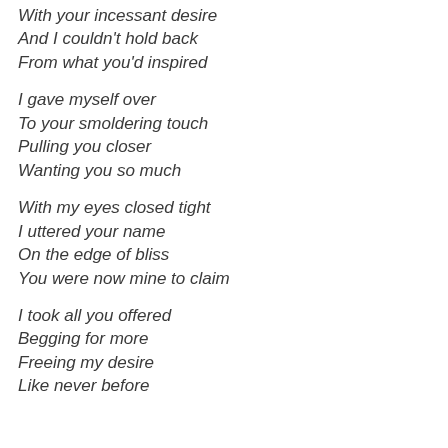With your incessant desire
And I couldn't hold back
From what you'd inspired

I gave myself over
To your smoldering touch
Pulling you closer
Wanting you so much

With my eyes closed tight
I uttered your name
On the edge of bliss
You were now mine to claim

I took all you offered
Begging for more
Freeing my desire
Like never before